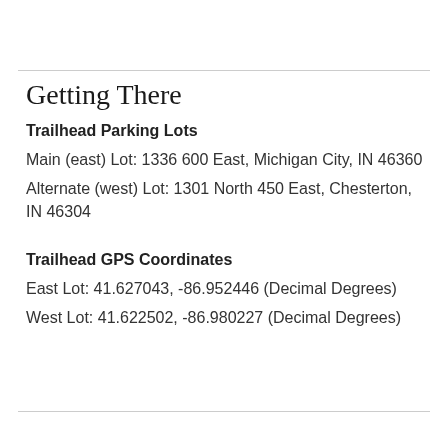Getting There
Trailhead Parking Lots
Main (east) Lot: 1336 600 East, Michigan City, IN 46360
Alternate (west) Lot: 1301 North 450 East, Chesterton, IN 46304
Trailhead GPS Coordinates
East Lot: 41.627043, -86.952446 (Decimal Degrees)
West Lot: 41.622502, -86.980227 (Decimal Degrees)